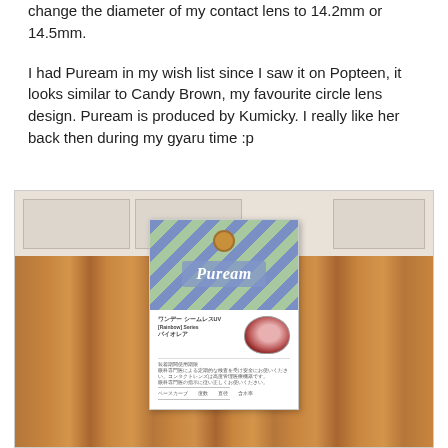change the diameter of my contact lens to 14.2mm or 14.5mm.

I had Puream in my wish list since I saw it on Popteen, it looks similar to Candy Brown, my favourite circle lens design. Puream is produced by Kumicky. I really like her back then during my gyaru time :p
[Figure (photo): Photo of a Puream brand contact lens package (card-style packaging with blue and green diamond/argyle pattern and the Puream logo) propped against a wooden surface, with white shelving visible at the top.]